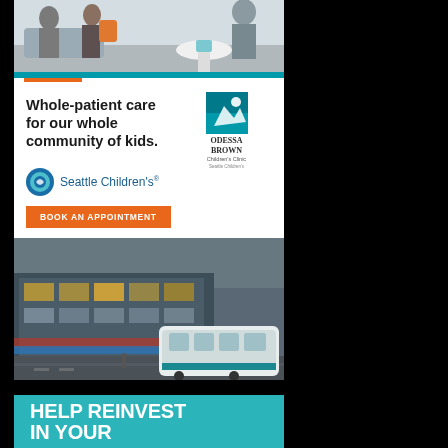[Figure (photo): Top portion of Seattle Children's advertisement showing two people seated in a waiting room area with gray sofa and white table]
[Figure (advertisement): Seattle Children's / Odessa Brown Children's Clinic advertisement with tagline 'Whole-patient care for our whole community of kids.' and logos, plus a photo of the Seattle Children's building exterior with Book An Appointment button]
Whole-patient care for our whole community of kids.
ODESSA BROWN Children's Clinic
Seattle Children's
BOOK AN APPOINTMENT
[Figure (photo): Exterior photo of Seattle Children's hospital building with light rail train in foreground]
[Figure (advertisement): Teal banner advertisement beginning with text 'HELP REINVEST IN YOUR']